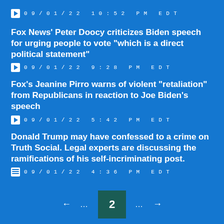09/01/22 10:52 PM EDT
Fox News’ Peter Doocy criticizes Biden speech for urging people to vote “which is a direct political statement”
09/01/22 9:28 PM EDT
Fox’s Jeanine Pirro warns of violent “retaliation” from Republicans in reaction to Joe Biden’s speech
09/01/22 5:42 PM EDT
Donald Trump may have confessed to a crime on Truth Social. Legal experts are discussing the ramifications of his self-incriminating post.
09/01/22 4:36 PM EDT
← ... 2 ... →